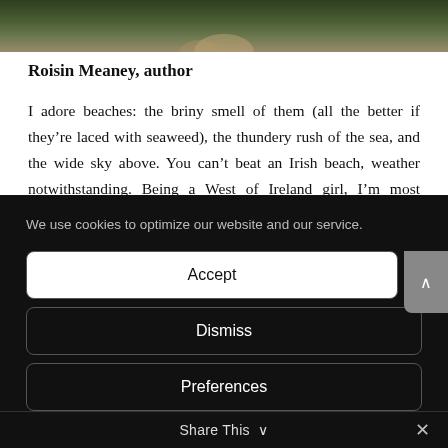[Figure (photo): Partial top strip showing a green landscape or path with foliage, cropped at the top of the page]
Roisin Meaney, author
I adore beaches: the briny smell of them (all the better if they’re laced with seaweed), the thundery rush of the sea, and the wide sky above. You can’t beat an Irish beach, weather notwithstanding. Being a West of Ireland girl, I’m most familiar with the beaches that run out to
We use cookies to optimize our website and our service.
Accept
Dismiss
Preferences
Share This ∨